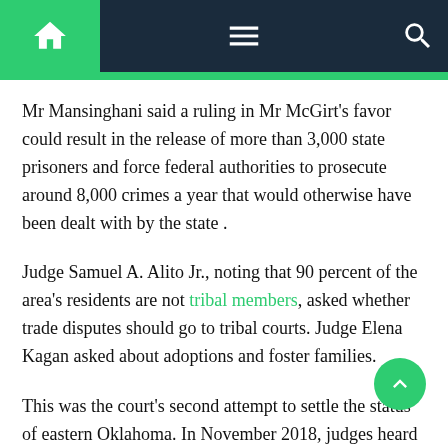Navigation bar with home, menu, and search icons
Mr Mansinghani said a ruling in Mr McGirt’s favor could result in the release of more than 3,000 state prisoners and force federal authorities to prosecute around 8,000 crimes a year that would otherwise have been dealt with by the state .
Judge Samuel A. Alito Jr., noting that 90 percent of the area’s residents are not tribal members, asked whether trade disputes should go to tribal courts. Judge Elena Kagan asked about adoptions and foster families.
This was the court’s second attempt to settle the status of eastern Oklahoma. In November 2018, judges heard arguments in Sharp v. Murphy, No. 17-1107, who presented the same problem in an appeal of a decision of the United States Court of Appeals for the 10th Circuit, in Denver. The case stems from the state court prosecution of Patrick